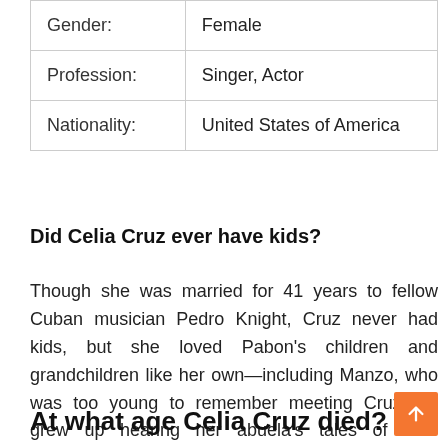| Gender: | Female |
| Profession: | Singer, Actor |
| Nationality: | United States of America |
Did Celia Cruz ever have kids?
Though she was married for 41 years to fellow Cuban musician Pedro Knight, Cruz never had kids, but she loved Pabon's children and grandchildren like her own—including Manzo, who was too young to remember meeting Cruz but grew up hearing her abuela's tales of their adventures.
At what age Celia Cruz died?